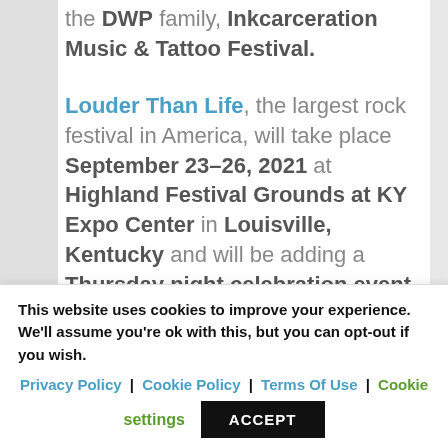the DWP family, Inkcarceration Music & Tattoo Festival.
Louder Than Life, the largest rock festival in America, will take place September 23-26, 2021 at Highland Festival Grounds at KY Expo Center in Louisville, Kentucky and will be adding a Thursday night celebration event to kick off the weekend. All current
This website uses cookies to improve your experience. We'll assume you're ok with this, but you can opt-out if you wish.
Privacy Policy | Cookie Policy | Terms Of Use | Cookie settings